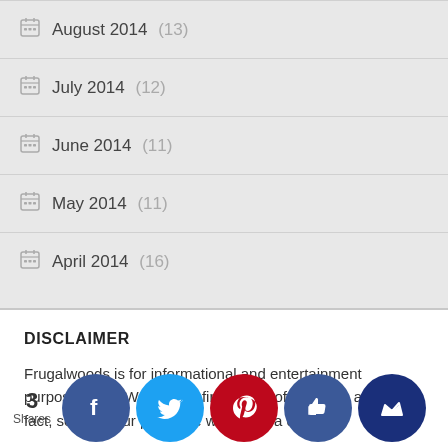August 2014 (13)
July 2014 (12)
June 2014 (11)
May 2014 (11)
April 2014 (16)
DISCLAIMER
Frugalwoods is for informational and entertainment purposes only. We are not financial professionals and, in fact, some of our posts are written by a dog. Seek a professional for financial advice. Click here for our full disclosure and round up of disclosures.